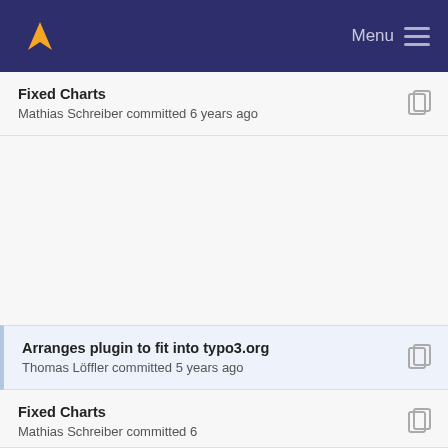Menu
Fixed Charts
Mathias Schreiber committed 6 years ago
Arranges plugin to fit into typo3.org
Thomas Löffler committed 5 years ago
Fixed Charts
Mathias Schreiber committed 6